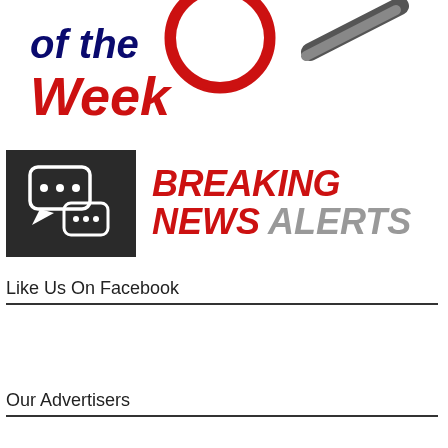[Figure (logo): Partial logo showing 'of the Week' text in dark blue and red with magnifying glass icon]
[Figure (logo): Breaking News Alerts logo with dark chat bubble icon on left and red/gray text on right reading BREAKING NEWS ALERTS]
Like Us On Facebook
Our Advertisers